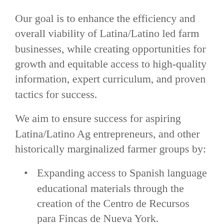Our goal is to enhance the efficiency and overall viability of Latina/Latino led farm businesses, while creating opportunities for growth and equitable access to high-quality information, expert curriculum, and proven tactics for success.
We aim to ensure success for aspiring Latina/Latino Ag entrepreneurs, and other historically marginalized farmer groups by:
Expanding access to Spanish language educational materials through the creation of the Centro de Recursos para Fincas de Nueva York.
Developing intentional programs for